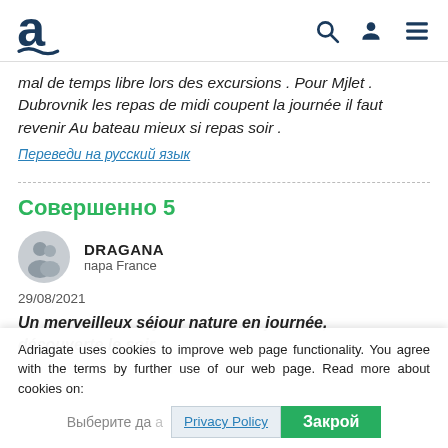Adriagate logo with search, user, and menu icons
mal de temps libre lors des excursions . Pour Mjlet . Dubrovnik les repas de midi coupent la journée il faut revenir Au bateau mieux si repas soir .
Переведи на русский язык
Совершенно 5
DRAGANA
пара France
29/08/2021
Un merveilleux séjour nature en journée, découverte le soir
Adriagate uses cookies to improve web page functionality. You agree with the terms by further use of our web page. Read more about cookies on:
Privacy Policy  Закрой